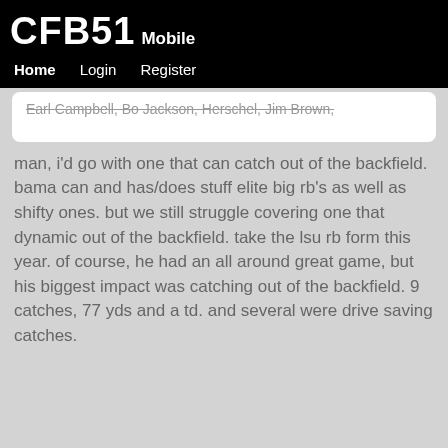CFB51 Mobile
Home Login Register
Earl Campbell, Bo Jackson, Herschel, Jim Brown,
man, i'd go with one that can catch out of the backfield. bama can and has/does stuff elite big rb's as well as shifty ones. but we still struggle covering one that dynamic out of the backfield. take the lsu rb form this year. of course, he had an all around great game, but his biggest impact was catching out of the backfield. 9 catches, 77 yds and a td. and several were drive saving catches.